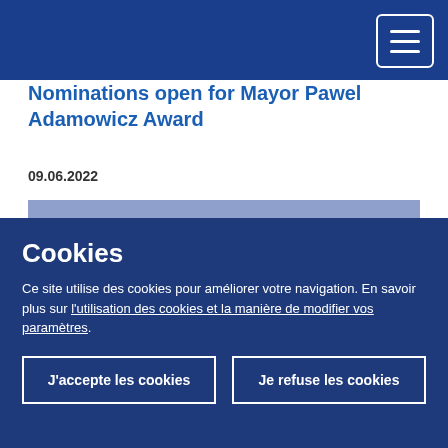Navigation bar with hamburger menu
Nominations open for Mayor Pawel Adamowicz Award
09.06.2022
[Figure (photo): Portrait photo of a man with glasses against a blue/purple background, visible from mid-chest up, partially cropped at bottom]
Cookies
Ce site utilise des cookies pour améliorer votre navigation. En savoir plus sur l'utilisation des cookies et la manière de modifier vos paramètres.
J'accepte les cookies
Je refuse les cookies